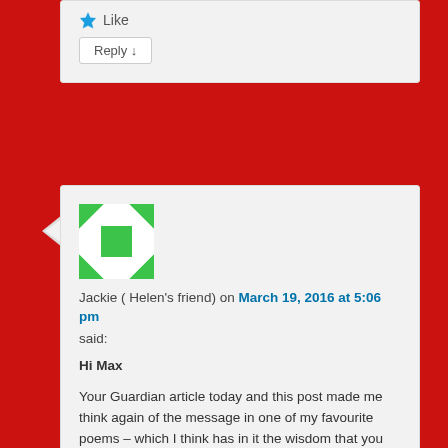[Figure (other): Like button with blue star icon and 'Like' text]
Reply ↓
[Figure (other): User avatar with green and white geometric pattern]
Jackie ( Helen's friend) on March 19, 2016 at 5:06 pm said:
Hi Max
Your Guardian article today and this post made me think again of the message in one of my favourite poems – which I think has in it the wisdom that you have shared with us. It is called The Peace of Wild Things by Wendell Berry: When despair for the world grows in me And I wake in the night at the least sound In fear of what my life and my children's lives at be